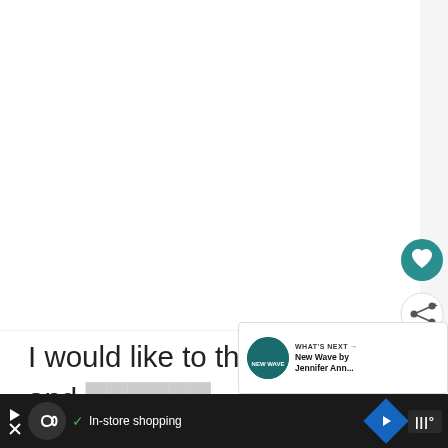[Figure (screenshot): White blank content area with heart (favorite) and share floating action buttons on the right side]
I would like to thank NetGalley and [publisher] Books for Young Readers for providing with a free ARC in exchange for a fair and h[onest review]
[Figure (screenshot): WHAT'S NEXT banner with New Wave by Jennifer Ann... book cover thumbnail]
[Figure (screenshot): Dark advertisement bar at bottom with infinity loop icon, In-store shopping text, navigation and music icons]